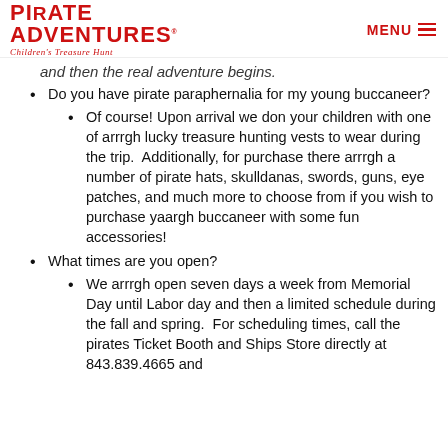Pirate Adventures Children's Treasure Hunt | MENU
and then the real adventure begins.
Do you have pirate paraphernalia for my young buccaneer?
Of course! Upon arrival we don your children with one of arrrgh lucky treasure hunting vests to wear during the trip.  Additionally, for purchase there arrrgh a number of pirate hats, skulldanas, swords, guns, eye patches, and much more to choose from if you wish to purchase yaargh buccaneer with some fun accessories!
What times are you open?
We arrrgh open seven days a week from Memorial Day until Labor day and then a limited schedule during the fall and spring.  For scheduling times, call the pirates Ticket Booth and Ships Store directly at 843.839.4665 and